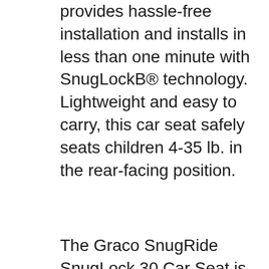provides hassle-free installation and installs in less than one minute with SnugLockB® technology. Lightweight and easy to carry, this car seat safely seats children 4-35 lb. in the rear-facing position.
The Graco SnugRide SnugLock 30 Car Seat is thoughfully designed to safely and comfortably accommodate babies from 4 to 30 lb. in the rear-facing position. Light and easy to carry plus a cinch to install using a vehicle seat belt or LATCH. May 30, 2017B B· Graco SnugRide SnugLock 35 DLX Review. Graco has taken their ultra-popular, easy-to-use SnugRide carseats and improved upon the installation process